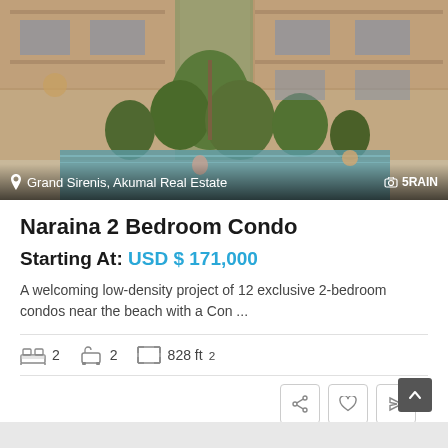[Figure (photo): Exterior view of Naraina condominium complex with balconies, lush tropical vegetation and pool area. Location overlay reads 'Grand Sirenis, Akumal Real Estate']
Naraina 2 Bedroom Condo
Starting At: USD $ 171,000
A welcoming low-density project of 12 exclusive 2-bedroom condos near the beach with a Con ...
2  2  828 ft²